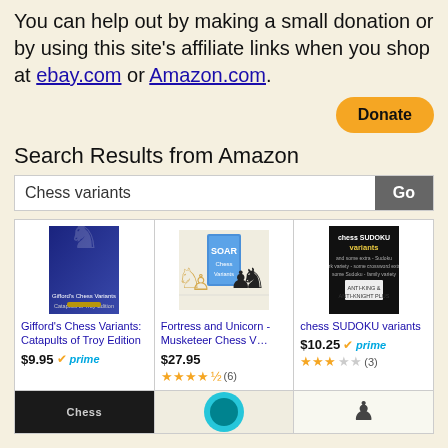You can help out by making a small donation or by using this site's affiliate links when you shop at ebay.com or Amazon.com.
[Figure (other): Donate button (yellow/orange rounded rectangle with bold text 'Donate')]
Search Results from Amazon
[Figure (other): Search bar with text 'Chess variants' and a 'Go' button]
[Figure (other): Product card: Gifford's Chess Variants: Catapults of Troy Edition, $9.95, prime]
[Figure (other): Product card: Fortress and Unicorn - Musketeer Chess V..., $27.95, 4.5 stars (6)]
[Figure (other): Product card: chess SUDOKU variants, $10.25, prime, 3.5 stars (3)]
[Figure (other): Bottom product cards row (partially visible): Chess book dark cover, teal circle logo, chess piece image]